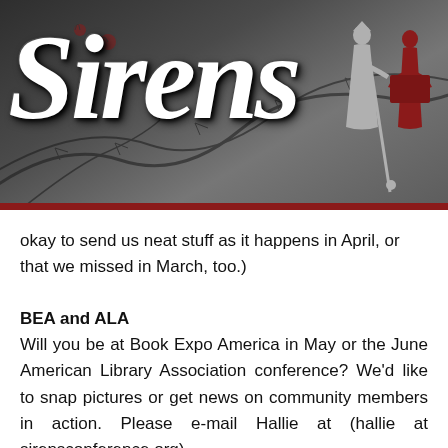[Figure (illustration): Sirens conference banner with dark thorny background, cursive 'Sirens' logo text in white, red berries/flowers, a gray silhouette of a woman with a staff and a red silhouette of a reading woman on the right, with a dark red bar at the bottom.]
okay to send us neat stuff as it happens in April, or that we missed in March, too.)
BEA and ALA
Will you be at Book Expo America in May or the June American Library Association conference? We'd like to snap pictures or get news on community members in action. Please e-mail Hallie at (hallie at sirensconference.org).